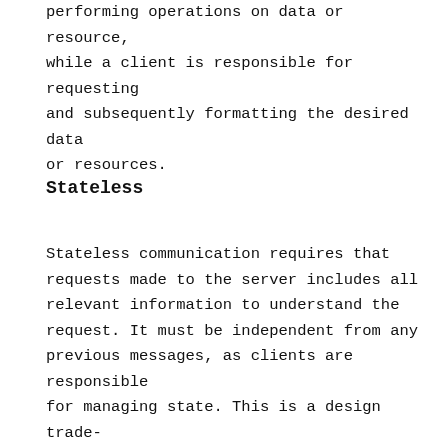performing operations on data or resource, while a client is responsible for requesting and subsequently formatting the desired data or resources.
Stateless
Stateless communication requires that requests made to the server includes all relevant information to understand the request. It must be independent from any previous messages, as clients are responsible for managing state. This is a design trade-off as it results in a potential increase of network requests, but supports the architectural attributes of visibility,